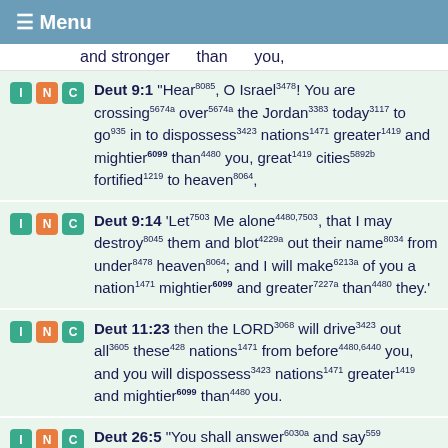≡ Menu
and stronger than you,
Deut 9:1 "Hear8085, O Israel3478! You are crossing5674a over5674a the Jordan3383 today3117 to go935 in to dispossess3423 nations1471 greater1419 and mightier6099 than4480 you, great1419 cities5892b fortified1219 to heaven8064,
Deut 9:14 'Let7503 Me alone4480,7503, that I may destroy8045 them and blot4229a out their name8034 from under8478 heaven8064; and I will make6213a of you a nation1471 mightier6099 and greater7227a than4480 they.'
Deut 11:23 then the LORD3068 will drive3423 out all3605 these428 nations1471 from before4480,6440 you, and you will dispossess3423 nations1471 greater1419 and mightier6099 than4480 you.
Deut 26:5 "You shall answer6030a and say559 before6440 the LORD3068 your God430, 'My